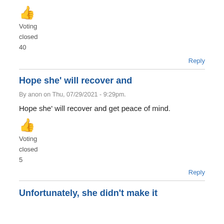👍
Voting
closed
40
Reply
Hope she' will recover and
By anon on Thu, 07/29/2021 - 9:29pm.
Hope she' will recover and get peace of mind.
👍
Voting
closed
5
Reply
Unfortunately, she didn't make it